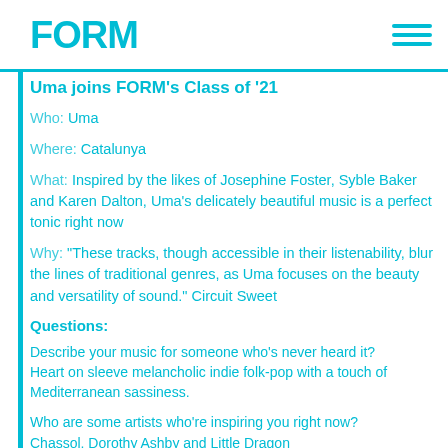FORM
Uma joins FORM's Class of '21
Who: Uma
Where: Catalunya
What: Inspired by the likes of Josephine Foster, Syble Baker and Karen Dalton, Uma's delicately beautiful music is a perfect tonic right now
Why: "These tracks, though accessible in their listenability, blur the lines of traditional genres, as Uma focuses on the beauty and versatility of sound." Circuit Sweet
Questions:
Describe your music for someone who's never heard it? Heart on sleeve melancholic indie folk-pop with a touch of Mediterranean sassiness.
Who are some artists who're inspiring you right now? Chassol, Dorothy Ashby and Little Dragon.